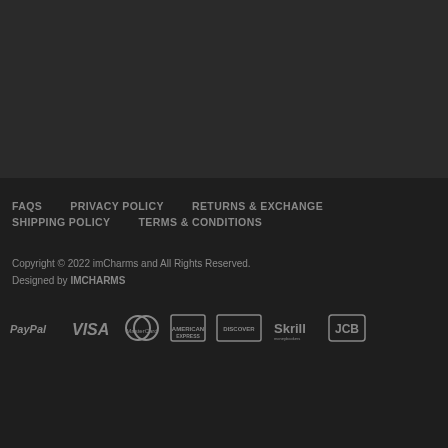FAQS   PRIVACY POLICY   RETURNS & EXCHANGE   SHIPPING POLICY   TERMS & CONDITIONS
Copyright © 2022 imCharms and All Rights Reserved.
Designed by IMCHARMS
[Figure (logo): Row of payment method logos: PayPal, VISA, MasterCard, American Express, Discover, Skrill, JCB]